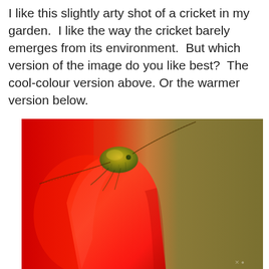I like this slightly arty shot of a cricket in my garden.  I like the way the cricket barely emerges from its environment.  But which version of the image do you like best?  The cool-colour version above. Or the warmer version below.
[Figure (photo): Close-up macro photograph of a small green cricket perched on the edge of a bright red flower petal. The background is a warm olive/tan blur on the right and red on the left. The cricket's head and antennae are visible peeking over the petal edge.]